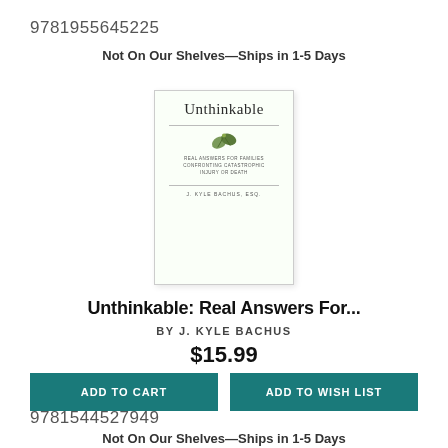9781955645225
Not On Our Shelves—Ships in 1-5 Days
[Figure (photo): Book cover of 'Unthinkable: Real Answers For Families Confronting Catastrophic Injury or Death' by J. Kyle Bachus, Esq. White cover with green leaf illustration.]
Unthinkable: Real Answers For...
BY J. KYLE BACHUS
$15.99
ADD TO CART
ADD TO WISH LIST
9781544527949
Not On Our Shelves—Ships in 1-5 Days